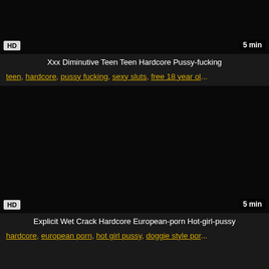[Figure (screenshot): Black video thumbnail with HD badge bottom-left and '5 min' duration badge bottom-right]
Xxx Diminutive Teen Teen Hardcore Pussy-fucking
teen, hardcore, pussy fucking, sexy sluts, free 18 year ol...
[Figure (screenshot): Black video thumbnail with HD badge bottom-left and '5 min' duration badge bottom-right]
Explicit Wet Crack Hardcore European-porn Hot-girl-pussy
hardcore, european porn, hot girl pussy, doggie style por...